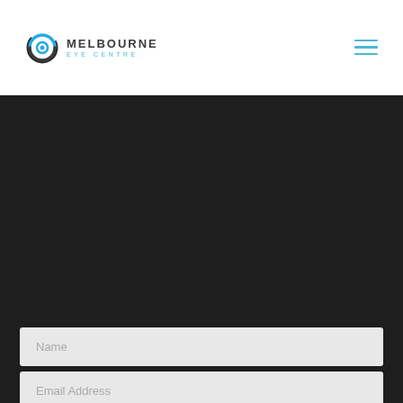[Figure (logo): Melbourne Eye Centre logo with circular eye icon in teal/blue and text 'MELBOURNE EYE CENTRE']
[Figure (other): Hamburger menu icon (three horizontal teal lines) in top right corner]
[Figure (photo): Dark/black background section occupying most of the page body]
Name
Email Address